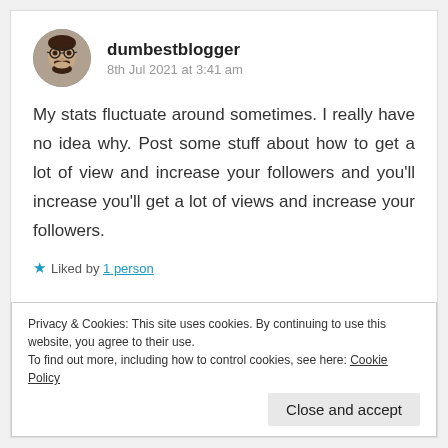[Figure (photo): Circular avatar photo of a person with glasses and beard]
dumbestblogger
8th Jul 2021 at 3:41 am
My stats fluctuate around sometimes. I really have no idea why. Post some stuff about how to get a lot of view and increase your followers and you'll increase you'll get a lot of views and increase your followers.
★ Liked by 1 person
Privacy & Cookies: This site uses cookies. By continuing to use this website, you agree to their use.
To find out more, including how to control cookies, see here: Cookie Policy
Close and accept